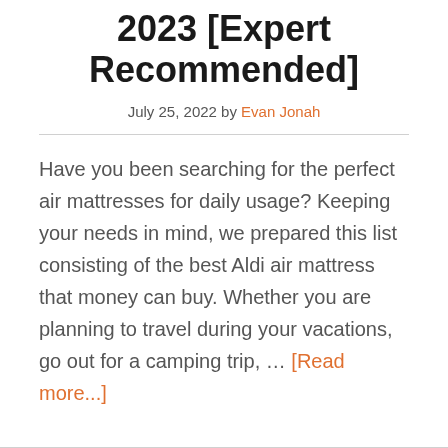2023 [Expert Recommended]
July 25, 2022 by Evan Jonah
Have you been searching for the perfect air mattresses for daily usage? Keeping your needs in mind, we prepared this list consisting of the best Aldi air mattress that money can buy. Whether you are planning to travel during your vacations, go out for a camping trip, … [Read more...]